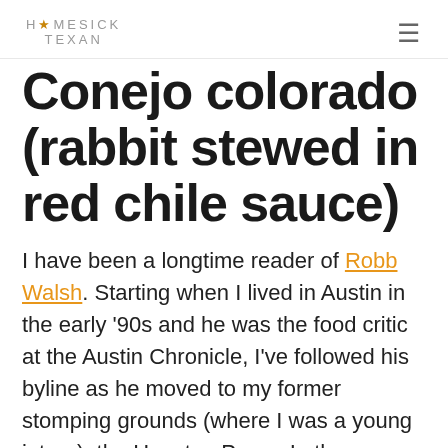HOMESICK TEXAN
Conejo colorado (rabbit stewed in red chile sauce)
I have been a longtime reader of Robb Walsh. Starting when I lived in Austin in the early '90s and he was the food critic at the Austin Chronicle, I've followed his byline as he moved to my former stomping grounds (where I was a young intern), the Houston Press. In the meantime, he's come out with